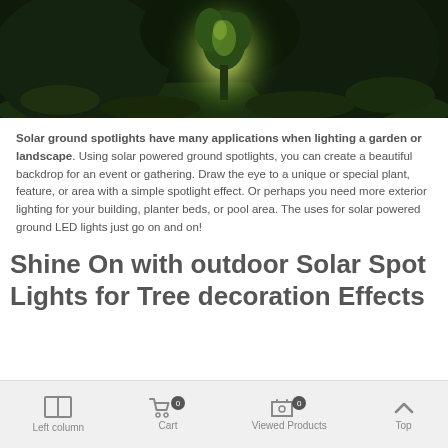[Figure (photo): Dark nighttime outdoor photo showing a glowing plant/figure illuminated by a spotlight against a dark garden background with grass and greenery]
Solar ground spotlights have many applications when lighting a garden or landscape. Using solar powered ground spotlights, you can create a beautiful backdrop for an event or gathering. Draw the eye to a unique or special plant, feature, or area with a simple spotlight effect. Or perhaps you need more exterior lighting for your building, planter beds, or pool area. The uses for solar powered ground LED lights just go on and on!
Shine On with outdoor Solar Spot Lights for Tree decoration Effects
Left column  Cart 0  Viewed Products 0  Top